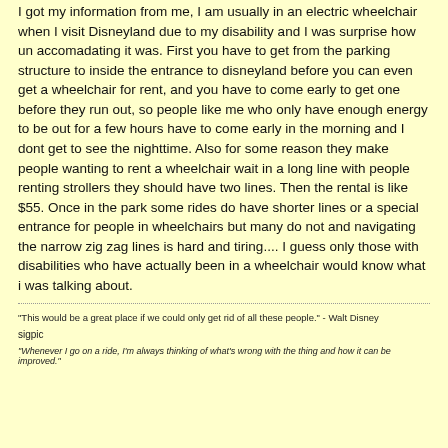I got my information from me, I am usually in an electric wheelchair when I visit Disneyland due to my disability and I was surprise how un accomadating it was. First you have to get from the parking structure to inside the entrance to disneyland before you can even get a wheelchair for rent, and you have to come early to get one before they run out, so people like me who only have enough energy to be out for a few hours have to come early in the morning and I dont get to see the nighttime. Also for some reason they make people wanting to rent a wheelchair wait in a long line with people renting strollers they should have two lines. Then the rental is like $55. Once in the park some rides do have shorter lines or a special entrance for people in wheelchairs but many do not and navigating the narrow zig zag lines is hard and tiring.... I guess only those with disabilities who have actually been in a wheelchair would know what i was talking about.
"This would be a great place if we could only get rid of all these people." - Walt Disney
sigpic
"Whenever I go on a ride, I'm always thinking of what's wrong with the thing and how it can be improved."